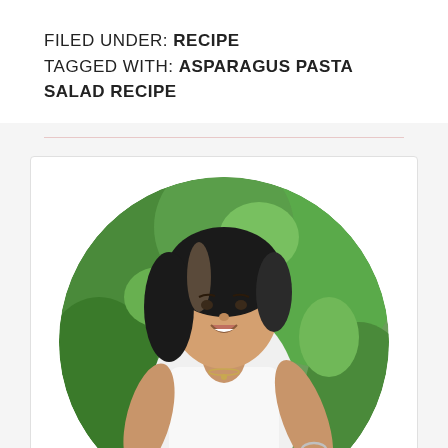FILED UNDER: RECIPE
TAGGED WITH: ASPARAGUS PASTA SALAD RECIPE
[Figure (photo): Circular portrait photo of a woman with dark hair wearing a white sleeveless top and blue patterned pants, posing in front of green garden foliage]